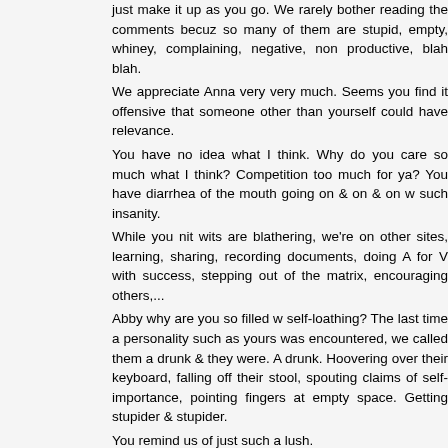just make it up as you go. We rarely bother reading the comments becuz so many of them are stupid, empty, whiney, complaining, negative, non productive, blah blah.
We appreciate Anna very very much. Seems you find it offensive that someone other than yourself could have relevance.
You have no idea what I think. Why do you care so much what I think? Competition too much for ya? You have diarrhea of the mouth going on & on & on w such insanity.
While you nit wits are blathering, we're on other sites, learning, sharing, recording documents, doing A for V with success, stepping out of the matrix, encouraging others,...
Abby why are you so filled w self-loathing? The last time a personality such as yours was encountered, we called them a drunk & they were. A drunk. Hoovering over their keyboard, falling off their stool, spouting claims of self-importance, pointing fingers at empty space. Getting stupider & stupider.
You remind us of just such a lush.